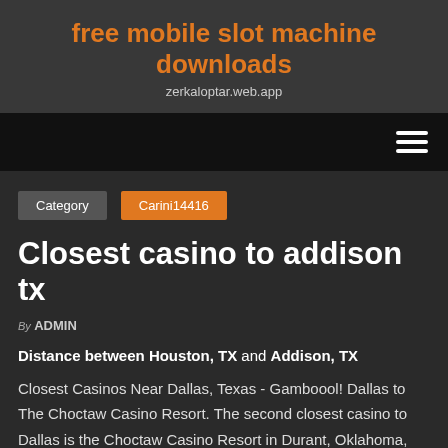free mobile slot machine downloads
zerkaloptar.web.app
Category  Carini14416
Closest casino to addison tx
By ADMIN
Distance between Houston, TX and Addison, TX
Closest Casinos Near Dallas, Texas - Gamboool! Dallas to The Choctaw Casino Resort. The second closest casino to Dallas is the Choctaw Casino Resort in Durant, Oklahoma,